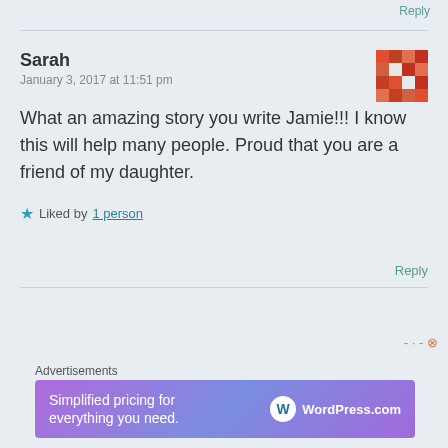Reply
Sarah
January 3, 2017 at 11:51 pm
What an amazing story you write Jamie!!! I know this will help many people. Proud that you are a friend of my daughter.
★ Liked by 1 person
Reply
Advertisements
[Figure (infographic): WordPress.com advertisement banner with gradient purple/blue background. Text: Simplified pricing for everything you need. WordPress.com logo on right.]